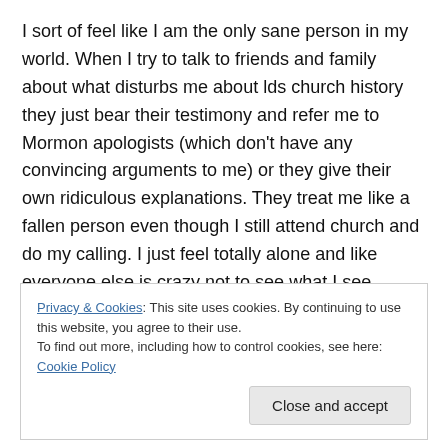I sort of feel like I am the only sane person in my world. When I try to talk to friends and family about what disturbs me about lds church history they just bear their testimony and refer me to Mormon apologists (which don't have any convincing arguments to me) or they give their own ridiculous explanations. They treat me like a fallen person even though I still attend church and do my calling. I just feel totally alone and like everyone else is crazy not to see what I see.
Privacy & Cookies: This site uses cookies. By continuing to use this website, you agree to their use. To find out more, including how to control cookies, see here: Cookie Policy